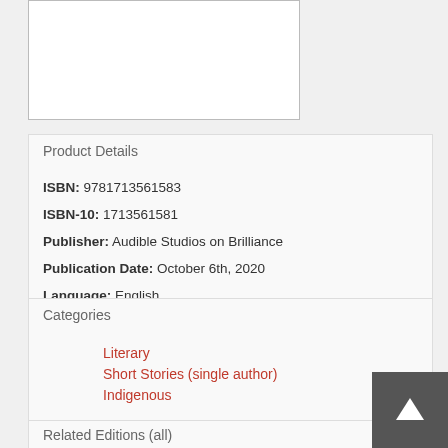[Figure (other): Book cover image placeholder (white rectangle with border)]
Product Details
ISBN: 9781713561583
ISBN-10: 1713561581
Publisher: Audible Studios on Brilliance
Publication Date: October 6th, 2020
Language: English
Categories
Literary
Short Stories (single author)
Indigenous
Related Editions (all)